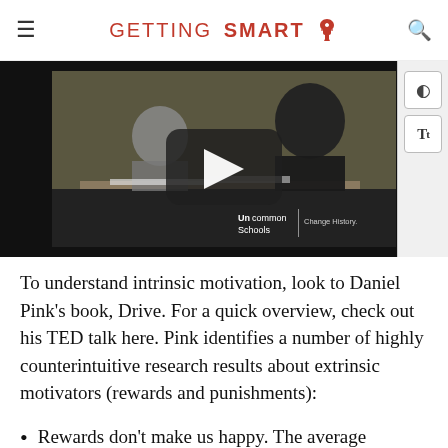GETTING SMART
[Figure (photo): Video thumbnail showing two students studying at desks in a classroom, with a YouTube-style play button overlay. Uncommon Schools | Change History watermark in the lower right corner.]
To understand intrinsic motivation, look to Daniel Pink's book, Drive. For a quick overview, check out his TED talk here. Pink identifies a number of highly counterintuitive research results about extrinsic motivators (rewards and punishments):
Rewards don't make us happy. The average